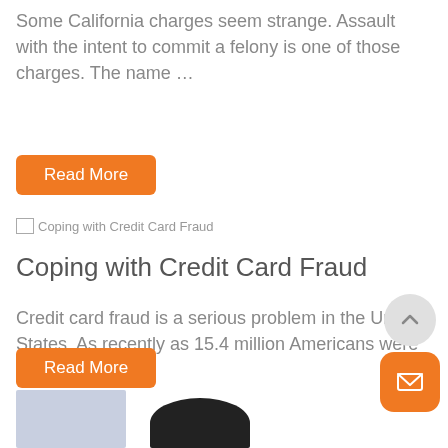Some California charges seem strange. Assault with the intent to commit a felony is one of those charges. The name …
Read More
[Figure (photo): Broken image placeholder labeled 'Coping with Credit Card Fraud']
Coping with Credit Card Fraud
Credit card fraud is a serious problem in the United States. As recently as 15.4 million Americans were credit card …
Read More